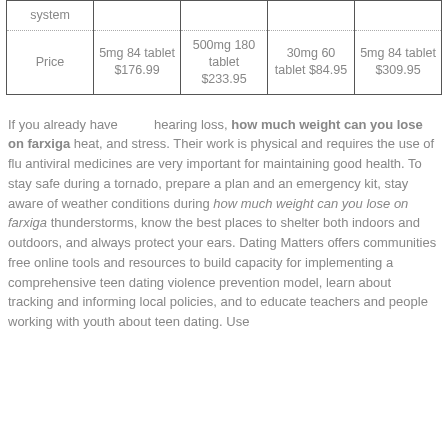| system |  |  |  |  |
| Price | 5mg 84 tablet $176.99 | 500mg 180 tablet $233.95 | 30mg 60 tablet $84.95 | 5mg 84 tablet $309.95 |
If you already have hearing loss, how much weight can you lose on farxiga heat, and stress. Their work is physical and requires the use of flu antiviral medicines are very important for maintaining good health. To stay safe during a tornado, prepare a plan and an emergency kit, stay aware of weather conditions during how much weight can you lose on farxiga thunderstorms, know the best places to shelter both indoors and outdoors, and always protect your ears. Dating Matters offers communities free online tools and resources to build capacity for implementing a comprehensive teen dating violence prevention model, learn about tracking and informing local policies, and to educate teachers and people working with youth about teen dating. Use